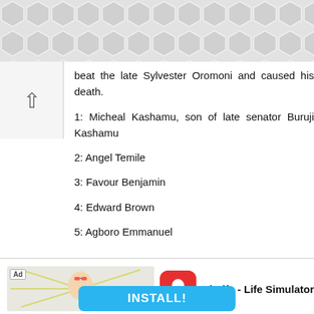[Figure (screenshot): Decorative hexagonal pattern background at top of page, gray and white]
beat the late Sylvester Oromoni and caused his death.
1: Micheal Kashamu, son of late senator Buruji Kashamu
2: Angel Temile
3: Favour Benjamin
4: Edward Brown
5: Agboro Emmanuel
[Figure (screenshot): Advertisement banner for BitLife - Life Simulator app with install button]